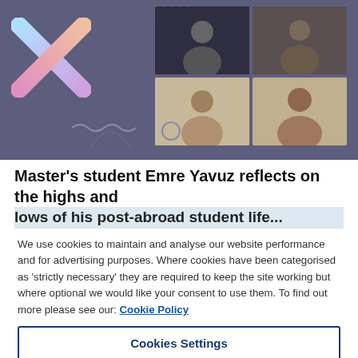[Figure (screenshot): Video call screenshot showing four participants in a 2x2 grid on a dark purple-grey background with a colorful X decoration on the left, dot patterns and wavy decorative elements.]
Master's student Emre Yavuz reflects on the highs and lows of his post-abroad student life...
We use cookies to maintain and analyse our website performance and for advertising purposes. Where cookies have been categorised as 'strictly necessary' they are required to keep the site working but where optional we would like your consent to use them. To find out more please see our: Cookie Policy
Cookies Settings
Reject All
Accept All Cookies